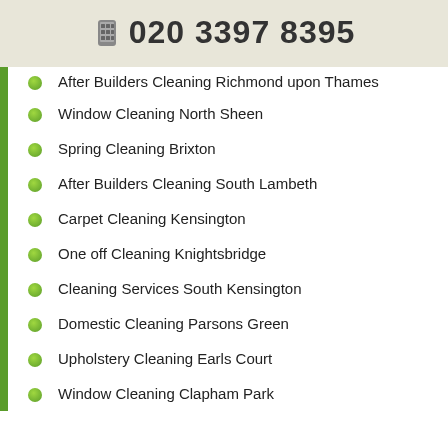020 3397 8395
After Builders Cleaning Richmond upon Thames
Window Cleaning North Sheen
Spring Cleaning Brixton
After Builders Cleaning South Lambeth
Carpet Cleaning Kensington
One off Cleaning Knightsbridge
Cleaning Services South Kensington
Domestic Cleaning Parsons Green
Upholstery Cleaning Earls Court
Window Cleaning Clapham Park